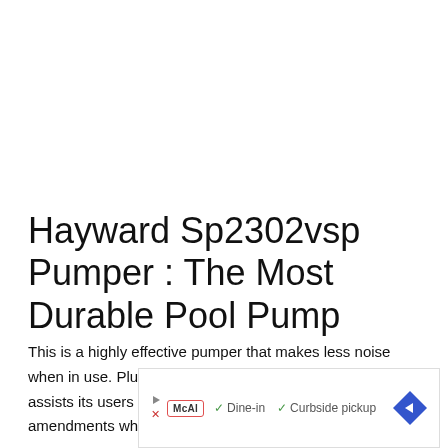Hayward Sp2302vsp Pumper : The Most Durable Pool Pump
This is a highly effective pumper that makes less noise when in use. Plus, it comes predesigned with a timer that assists its users to time their usage and make amendments where needed.
[Figure (other): Advertisement banner showing a play button, McAl logo, green checkmarks with 'Dine-in' and 'Curbside pickup' text, and a blue diamond-shaped arrow icon]